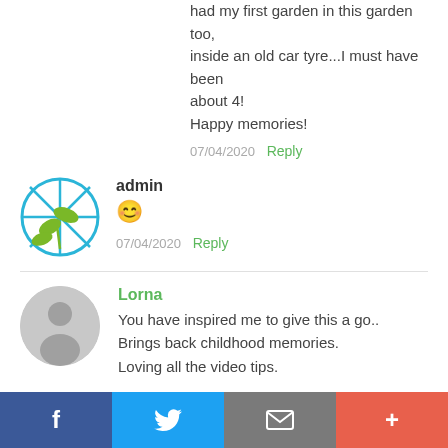had my first garden in this garden too, inside an old car tyre...I must have been about 4!
Happy memories!
07/04/2020  Reply
[Figure (logo): Admin avatar: green plant with blue diamond lattice circle icon]
admin
😊
07/04/2020  Reply
[Figure (illustration): Generic grey user avatar silhouette circle for Lorna]
Lorna
You have inspired me to give this a go..
Brings back childhood memories.
Loving all the video tips.
[Figure (infographic): Social share bar with Facebook, Twitter, Email, and More (+) buttons]